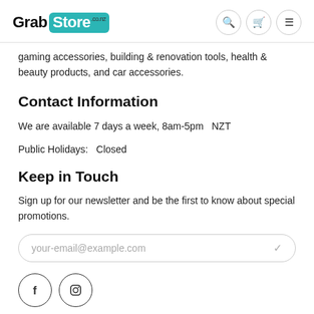Grab Store .co.nz
gaming accessories, building & renovation tools, health & beauty products, and car accessories.
Contact Information
We are available 7 days a week, 8am-5pm  NZT
Public Holidays:  Closed
Keep in Touch
Sign up for our newsletter and be the first to know about special promotions.
[Figure (other): Email input field with placeholder text 'your-email@example.com' and a checkmark icon]
[Figure (other): Social media icons: Facebook (f) and Instagram circle icons]